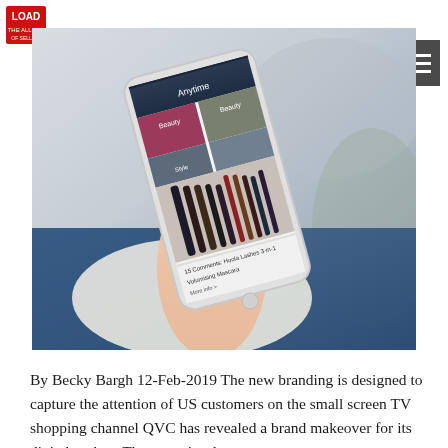[Figure (logo): LOAD logo - red square tag with white text]
[Figure (photo): Person holding a smartphone displaying a QVC shopping app with beauty products and category tiles]
By Becky Bargh 12-Feb-2019 The new branding is designed to capture the attention of US customers on the small screen TV shopping channel QVC has revealed a brand makeover for its digital outlets. The new visual